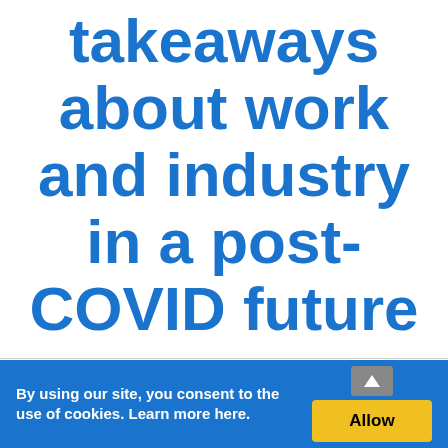takeaways about work and industry in a post-COVID future
By using our site, you consent to the use of cookies. Learn more here.